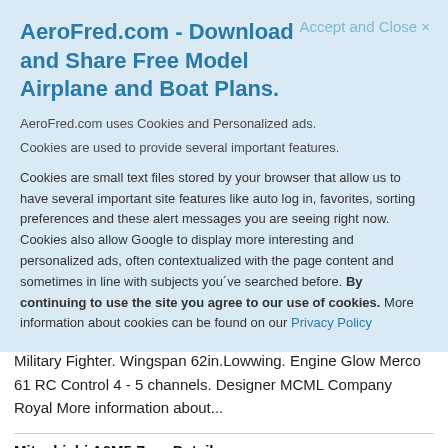AeroFred.com - Download and Share Free Model Airplane and Boat Plans.
Accept and Close ×
AeroFred.com uses Cookies and Personalized ads.
Cookies are used to provide several important features.
Cookies are small text files stored by your browser that allow us to have several important site features like auto log in, favorites, sorting preferences and these alert messages you are seeing right now. Cookies also allow Google to display more interesting and personalized ads, often contextualized with the page content and sometimes in line with subjects you´ve searched before. By continuing to use the site you agree to our use of cookies. More information about cookies can be found on our Privacy Policy
Mitsubishi A6M5 Zero Plan 26 Kit ??? Type Model RC Scale Military Fighter. Wingspan 62in.Lowwing. Engine Glow Merco 61 RC Control 4 - 5 channels. Designer MCML Company Royal More information about...
|  |  |
| --- | --- |
| Mitsubishi A6M5 Zero Details: |  |
| Type: | Airplane |
| Class: | Radio Control |